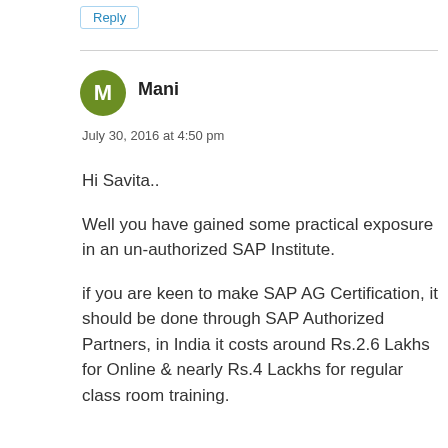Reply
Mani
July 30, 2016 at 4:50 pm
Hi Savita..
Well you have gained some practical exposure in an un-authorized SAP Institute.
if you are keen to make SAP AG Certification, it should be done through SAP Authorized Partners, in India it costs around Rs.2.6 Lakhs for Online & nearly Rs.4 Lackhs for regular class room training.
If you want to do SAP training done certification...